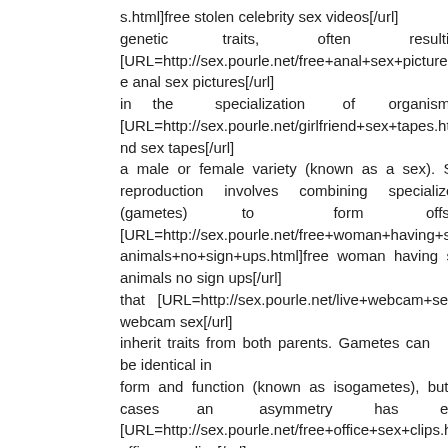s.html]free stolen celebrity sex videos[/url] genetic traits, often resulting [URL=http://sex.pourle.net/free+anal+sex+pictures.html]free anal sex pictures[/url] in the specialization of organisms into [URL=http://sex.pourle.net/girlfriend+sex+tapes.html]girlfriend sex tapes[/url] a male or female variety (known as a sex). Sexual reproduction involves combining specialized cells (gametes) to form offspring [URL=http://sex.pourle.net/free+woman+having+sex+with+animals+no+sign+ups.html]free woman having sex with animals no sign ups[/url] that [URL=http://sex.pourle.net/live+webcam+sex.html]live webcam sex[/url] inherit traits from both parents. Gametes can be identical in form and function (known as isogametes), but in many cases an asymmetry has evolved [URL=http://sex.pourle.net/free+office+sex+clips.html]free office sex clips[/url] such that two sex-specific types of gametes (heterogametes) exist: male